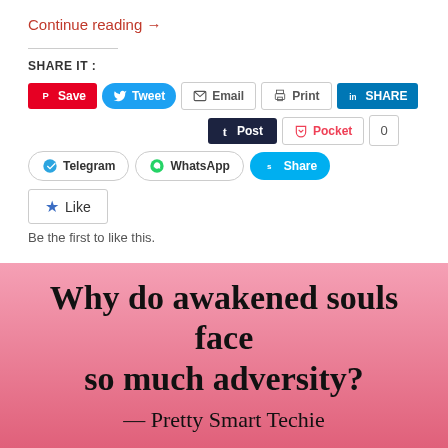Continue reading →
SHARE IT :
[Figure (screenshot): Social share buttons: Save (Pinterest), Tweet, Email, Print, SHARE (LinkedIn), Post (Tumblr), Pocket with count 0, Telegram, WhatsApp, Share (Skype)]
[Figure (screenshot): Like button with star icon and text 'Be the first to like this.']
Be the first to like this.
[Figure (infographic): Pink gradient background with text: 'Why do awakened souls face so much adversity? — Pretty Smart Techie']